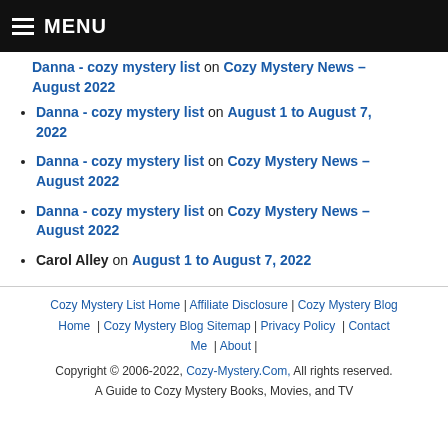MENU
Danna - cozy mystery list on Cozy Mystery News – August 2022 (partial, top cut off)
Danna - cozy mystery list on August 1 to August 7, 2022
Danna - cozy mystery list on Cozy Mystery News – August 2022
Danna - cozy mystery list on Cozy Mystery News – August 2022
Carol Alley on August 1 to August 7, 2022
Cozy Mystery List Home | Affiliate Disclosure | Cozy Mystery Blog Home | Cozy Mystery Blog Sitemap | Privacy Policy | Contact Me | About | Copyright © 2006-2022, Cozy-Mystery.Com, All rights reserved. A Guide to Cozy Mystery Books, Movies, and TV